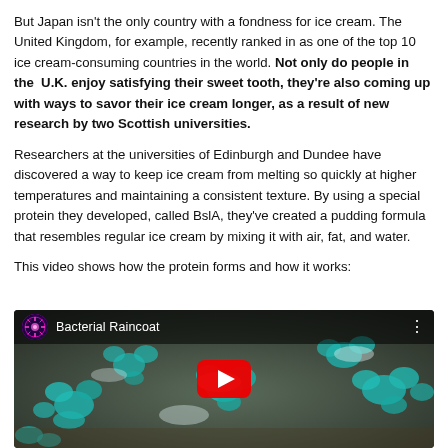But Japan isn't the only country with a fondness for ice cream. The United Kingdom, for example, recently ranked in as one of the top 10 ice cream-consuming countries in the world. Not only do people in the U.K. enjoy satisfying their sweet tooth, they're also coming up with ways to savor their ice cream longer, as a result of new research by two Scottish universities.
Researchers at the universities of Edinburgh and Dundee have discovered a way to keep ice cream from melting so quickly at higher temperatures and maintaining a consistent texture. By using a special protein they developed, called BslA, they've created a pudding formula that resembles regular ice cream by mixing it with air, fat, and water.
This video shows how the protein forms and how it works:
[Figure (screenshot): YouTube video embed showing 'Bacterial Raincoat' with teal crystalline protein structures on a brownish background and a red YouTube play button in the center.]